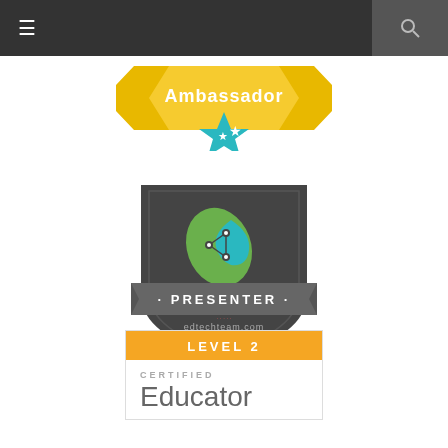[Figure (other): Dark navigation bar with hamburger menu icon on left and search icon on right]
[Figure (illustration): Ambassador badge with yellow ribbon banner reading 'Ambassador' and teal star badge below]
[Figure (logo): EdTechTeam Presenter badge: dark shield shape with green and teal leaf/circuit logo, gray ribbon banner reading '· PRESENTER ·', and edtechteam.com text below]
[Figure (illustration): Level 2 Certified Educator card with orange header reading 'LEVEL 2', 'CERTIFIED' label in gray, and 'Educator' in large gray text]